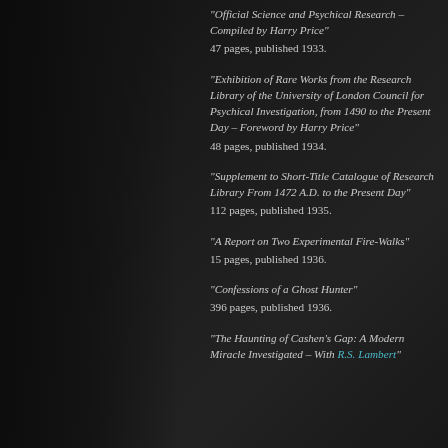"Official Science and Psychical Research – Compiled by Harry Price" 47 pages, published 1933.
"Exhibition of Rare Works from the Research Library of the University of London Council for Psychical Investigation, from 1490 to the Present Day – Foreword by Harry Price" 48 pages, published 1934.
"Supplement to Short-Title Catalogue of Research Library From 1472 A.D. to the Present Day" 112 pages, published 1935.
"A Report on Two Experimental Fire-Walks" 15 pages, published 1936.
"Confessions of a Ghost Hunter" 396 pages, published 1936.
"The Haunting of Cashen's Gap: A Modern Miracle Investigated – With R.S. Lambert"